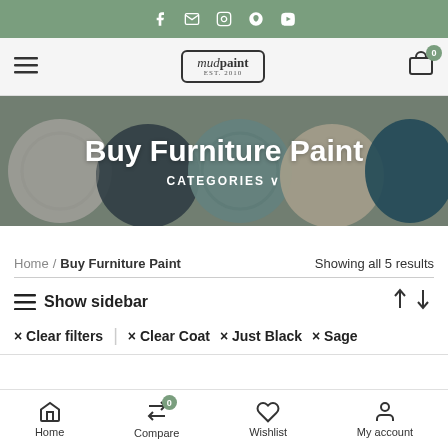Social bar with icons: f, email, instagram, pinterest, vimeo
[Figure (logo): mudpaint logo in bordered rounded rectangle]
Buy Furniture Paint
CATEGORIES ∨
Home / Buy Furniture Paint    Showing all 5 results
≡ Show sidebar
× Clear filters  |  × Clear Coat  × Just Black  × Sage
Home  Compare  Wishlist  My account